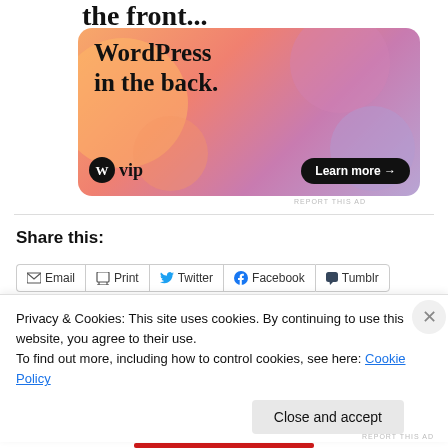the front...
[Figure (illustration): WordPress VIP advertisement banner with orange/pink gradient background, decorative blobs, text 'WordPress in the back.', WP VIP logo, and 'Learn more →' button]
REPORT THIS AD
Share this:
Email  Print  Twitter  Facebook  Tumblr
Privacy & Cookies: This site uses cookies. By continuing to use this website, you agree to their use.
To find out more, including how to control cookies, see here: Cookie Policy
Close and accept